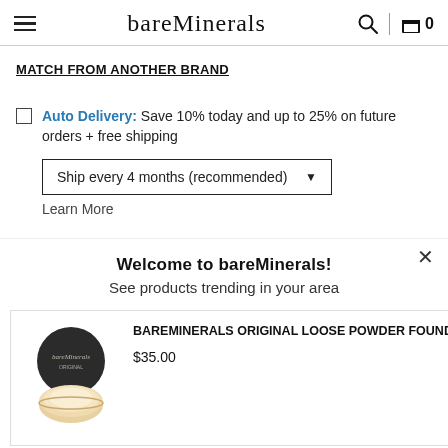bareMinerals
MATCH FROM ANOTHER BRAND
Auto Delivery: Save 10% today and up to 25% on future orders + free shipping
Ship every 4 months (recommended)
Learn More
Welcome to bareMinerals!
See products trending in your area
[Figure (photo): Product card showing bareMinerals Original Loose Powder Foundation SPF 15 - Fair 01 with product image and price $35.00]
[Figure (photo): Partial product card showing a tube/bottle product, partially visible]